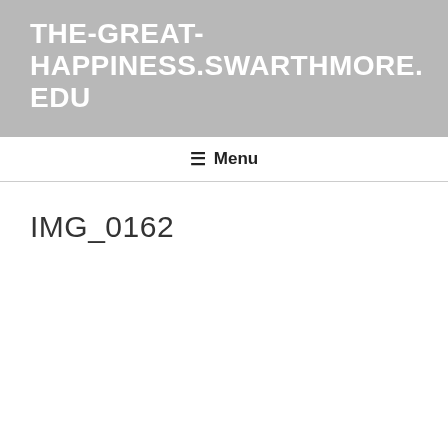THE-GREAT-HAPPINESS.SWARTHMORE.EDU
☰ Menu
IMG_0162